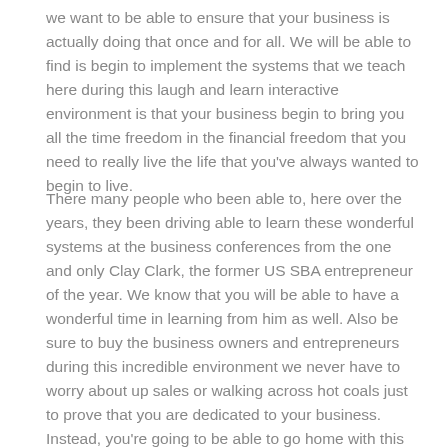we want to be able to ensure that your business is actually doing that once and for all. We will be able to find is begin to implement the systems that we teach here during this laugh and learn interactive environment is that your business begin to bring you all the time freedom in the financial freedom that you need to really live the life that you've always wanted to begin to live.
There many people who been able to, here over the years, they been driving able to learn these wonderful systems at the business conferences from the one and only Clay Clark, the former US SBA entrepreneur of the year. We know that you will be able to have a wonderful time in learning from him as well. Also be sure to buy the business owners and entrepreneurs during this incredible environment we never have to worry about up sales or walking across hot coals just to prove that you are dedicated to your business.
Instead, you're going to be able to go home with this